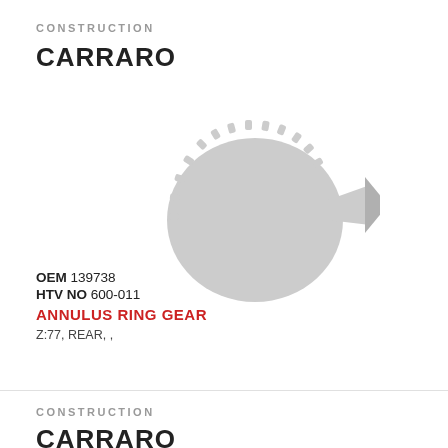CONSTRUCTION
CARRARO
[Figure (illustration): Gray silhouette illustration of an annulus ring gear with teeth around the circumference and an arrow-shaped pointer element to the right]
OEM 139738
HTV NO 600-011
ANNULUS RING GEAR
Z:77, REAR, ,
CONSTRUCTION
CARRARO